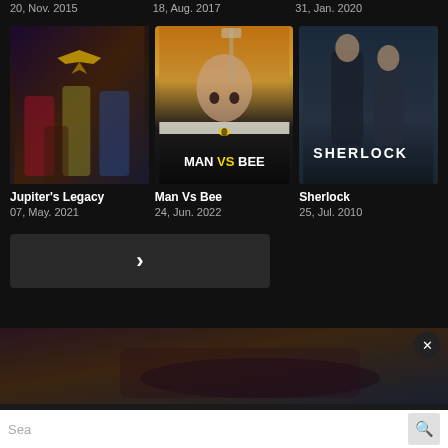20, Nov. 2015
18, Aug. 2017
31, Jan. 2020
[Figure (photo): Jupiter's Legacy TV show poster showing superhero characters]
[Figure (photo): Man Vs Bee TV show poster showing Rowan Atkinson peeking over a counter at a bee]
[Figure (photo): Sherlock TV show poster showing two men in suits]
Jupiter's Legacy
07, May. 2021
Man Vs Bee
24, Jun. 2022
Sherlock
25, Jul. 2010
[Figure (screenshot): Next page button with right chevron arrow on dark background]
[Figure (photo): Adult content advertisement overlay image]
Sea
×